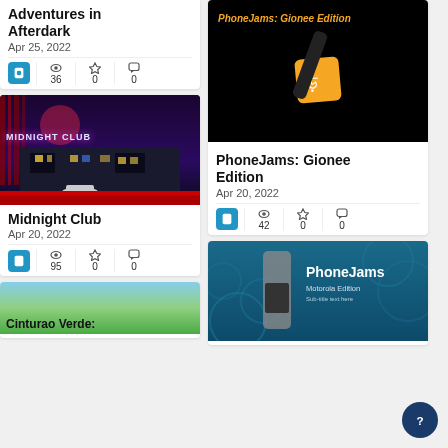Adventures in Afterdark
Apr 25, 2022
36 views, 0 favorites, 0 comments
[Figure (photo): Midnight Club nighttime street scene with neon sign and red stripe]
Midnight Club
Apr 20, 2022
95 views, 0 favorites, 0 comments
[Figure (photo): Cinturao Verde partial thumbnail (green and sky blue landscape)]
Cinturao Verde:
[Figure (photo): PhoneJams: Gionee Edition cover art on black background with orange logo]
PhoneJams: Gionee Edition
Apr 20, 2022
42 views, 0 favorites, 0 comments
[Figure (photo): PhoneJams Motorola Edition cover art with phone on teal background]